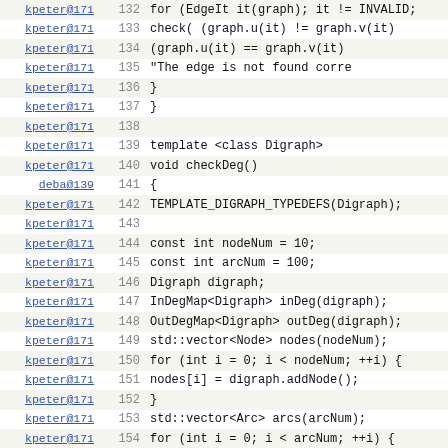[Figure (screenshot): Source code viewer showing lines 132-154 of C++ code with author annotations (kpeter@171, deba@139) and line numbers. Code includes edge checking loops, template class Digraph, checkDeg function, and graph node/arc operations.]